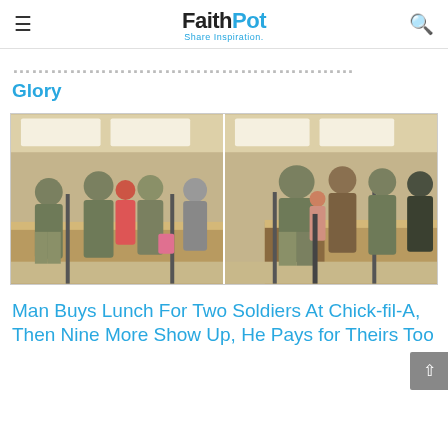FaithPot — Share Inspiration
... Glory
[Figure (photo): Two side-by-side photos of soldiers in camouflage uniforms standing at a Chick-fil-A counter inside a restaurant]
Man Buys Lunch For Two Soldiers At Chick-fil-A, Then Nine More Show Up, He Pays for Theirs Too